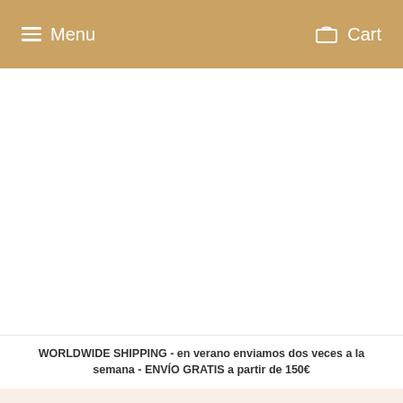Menu   Cart
WORLDWIDE SHIPPING - en verano enviamos dos veces a la semana - ENVÍO GRATIS a partir de 150€
Home › dots backpack - mochila